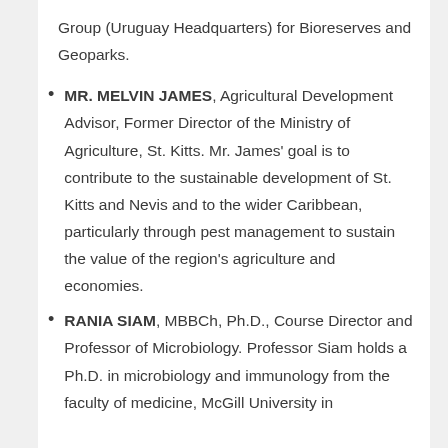Group (Uruguay Headquarters) for Bioreserves and Geoparks.
MR. MELVIN JAMES, Agricultural Development Advisor, Former Director of the Ministry of Agriculture, St. Kitts. Mr. James' goal is to contribute to the sustainable development of St. Kitts and Nevis and to the wider Caribbean, particularly through pest management to sustain the value of the region's agriculture and economies.
RANIA SIAM, MBBCh, Ph.D., Course Director and Professor of Microbiology. Professor Siam holds a Ph.D. in microbiology and immunology from the faculty of medicine, McGill University in